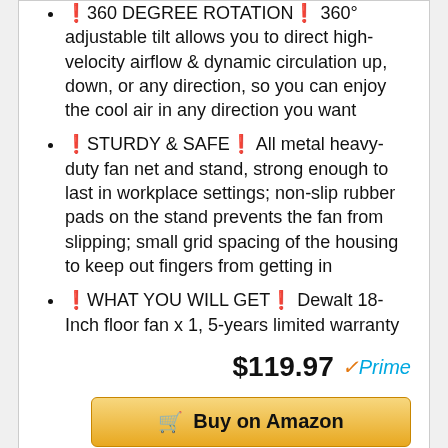🔄360 DEGREE ROTATION🔄 360° adjustable tilt allows you to direct high-velocity airflow & dynamic circulation up, down, or any direction, so you can enjoy the cool air in any direction you want
🔒STURDY & SAFE🔒 All metal heavy-duty fan net and stand, strong enough to last in workplace settings; non-slip rubber pads on the stand prevents the fan from slipping; small grid spacing of the housing to keep out fingers from getting in
🎁WHAT YOU WILL GET🎁 Dewalt 18-Inch floor fan x 1, 5-years limited warranty
$119.97 Prime
Buy on Amazon
RANK NO. 4